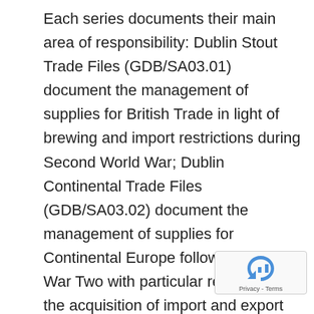Each series documents their main area of responsibility: Dublin Stout Trade Files (GDB/SA03.01) document the management of supplies for British Trade in light of brewing and import restrictions during Second World War; Dublin Continental Trade Files (GDB/SA03.02) document the management of supplies for Continental Europe following World War Two with particular reference to the acquisition of import and export licences for Continental trade markets, investigation and negotiation of import licences, correspondence with ambassadors, Irish government officials, Coras Trachtala Eireann, Irish Department of Industry and Commerce particularly in relation to Trade Agreements including discussions on quotas, import and exports for Continental trade markets. The main...